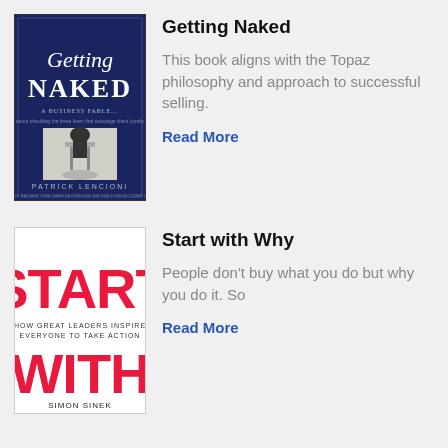[Figure (illustration): Book cover for 'Getting Naked' by Patrick Lencioni - dark navy blue background with white serif text 'Getting Naked', subtitle 'A Business Fable...' and an image of a person under a barber/salon chair, author name at bottom]
Getting Naked
This book aligns with the Topaz philosophy and approach to successful selling.
Read More
[Figure (illustration): Book cover for 'Start with Why' by Simon Sinek - white background with large bold red text 'START', subtitle 'HOW GREAT LEADERS INSPIRE EVERYONE TO TAKE ACTION', and 'WITH' in large red letters, author name Simon Sinek at bottom]
Start with Why
People don't buy what you do but why you do it. So
Read More